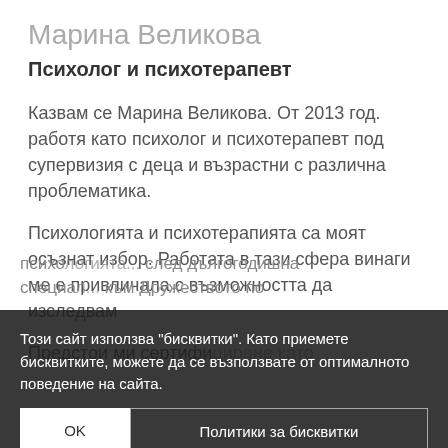Марина Великова
Психолог и психотерапевт
Казвам се Марина Великова. От 2013 год. работя като психолог и психотерапевт под супервизия с деца и възрастни с различна проблематика.
Психологията и психотерапията са моят осъзнат избор. Работата в тази сфера винаги ме е привличала с възможността да изследвам
Предстои ми сертифициране като психо... след дългогодишна специа... към Дружеството по позитивна... Редовно участвам в супервизии, обучения,
Този сайт използва "бисквитки". Като приемете бисквитките, можете да се възползвате от оптималното поведение на сайта.
OK
Политики за бисквитки
Политики за поверителност